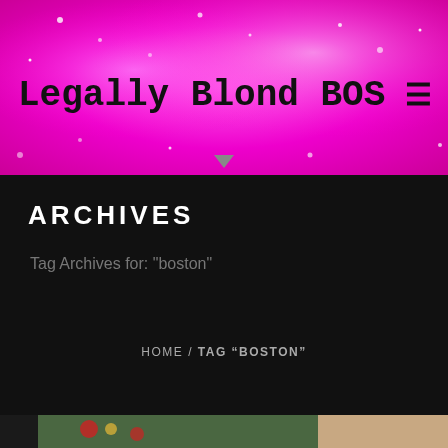Legally Blond BOS
ARCHIVES
Tag Archives for: "boston"
HOME / TAG “BOSTON”
[Figure (photo): Man with grey hair and glasses standing in front of a Christmas tree decorated with red and gold ornaments]